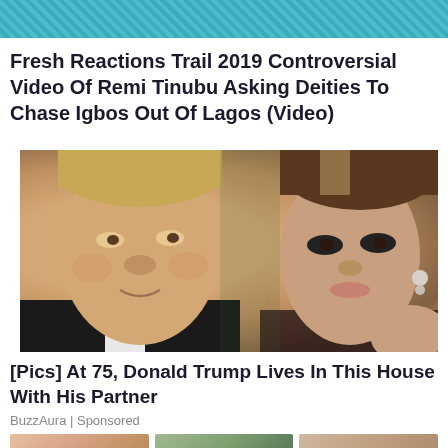[Figure (photo): Partial photo of a person in teal/turquoise outfit, cropped at top]
Fresh Reactions Trail 2019 Controversial Video Of Remi Tinubu Asking Deities To Chase Igbos Out Of Lagos (Video)
[Figure (photo): Photo of Donald Trump and Melania Trump at a formal event, green background]
[Pics] At 75, Donald Trump Lives In This House With His Partner
BuzzAura | Sponsored
[Figure (photo): Three small thumbnail images at the bottom of the page]